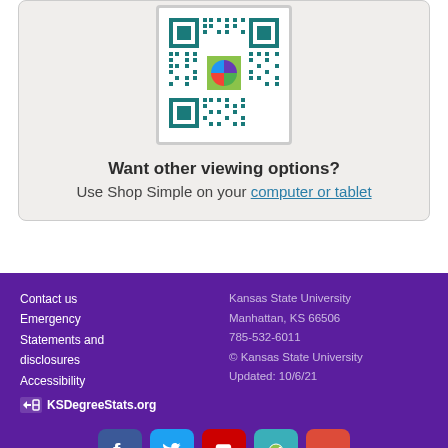[Figure (other): QR code with a pie chart logo embedded at top center]
Want other viewing options?
Use Shop Simple on your computer or tablet
Contact us
Emergency
Statements and disclosures
Accessibility
KSDegreeStats.org
Kansas State University
Manhattan, KS 66506
785-532-6011
© Kansas State University
Updated: 10/6/21
[Figure (other): Social media icons row: Facebook, Twitter, YouTube, Checkmark/Foursquare, Google+]